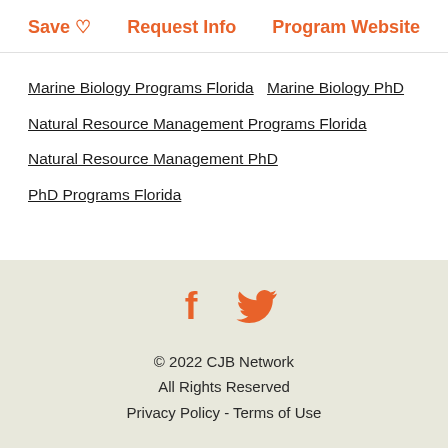Save ♡   Request Info   Program Website
Marine Biology Programs Florida
Marine Biology PhD
Natural Resource Management Programs Florida
Natural Resource Management PhD
PhD Programs Florida
[Figure (illustration): Facebook and Twitter social media icons in orange]
© 2022 CJB Network
All Rights Reserved
Privacy Policy - Terms of Use